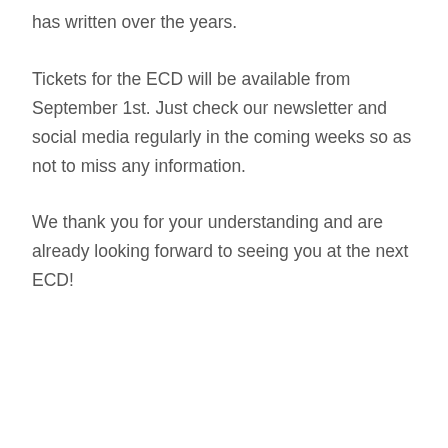has written over the years.
Tickets for the ECD will be available from September 1st. Just check our newsletter and social media regularly in the coming weeks so as not to miss any information.
We thank you for your understanding and are already looking forward to seeing you at the next ECD!